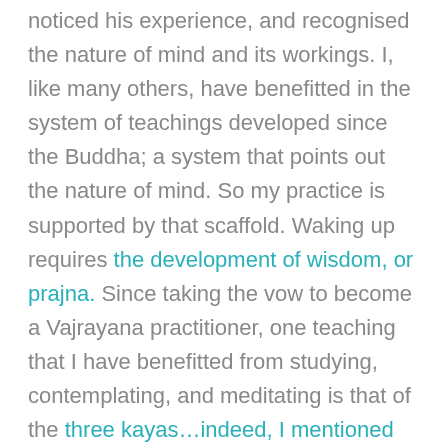noticed his experience, and recognised the nature of mind and its workings. I, like many others, have benefitted in the system of teachings developed since the Buddha; a system that points out the nature of mind. So my practice is supported by that scaffold. Waking up requires the development of wisdom, or prajna. Since taking the vow to become a Vajrayana practitioner, one teaching that I have benefitted from studying, contemplating, and meditating is that of the three kayas…indeed, I mentioned them just last week. Once we are introduced to the kayas, we see them permeating everything: body (nirmanakaya), speech (sambhogakaya) and mind (dharmakaya) for example. And so now in my practice, I see these three kayas making up my experience.